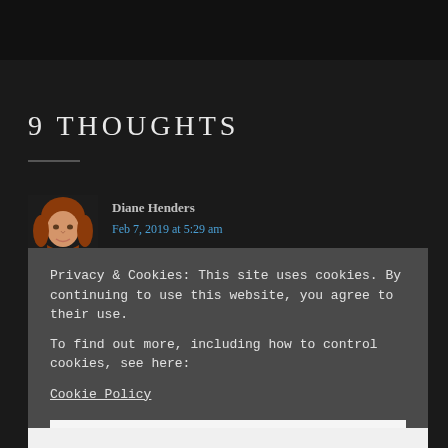9 THOUGHTS
[Figure (photo): Avatar photo of Diane Henders — woman with reddish-brown hair against dark background]
Diane Henders
Feb 7, 2019 at 5:29 am
Privacy & Cookies: This site uses cookies. By continuing to use this website, you agree to their use.
To find out more, including how to control cookies, see here:
Cookie Policy
CLOSE AND ACCEPT